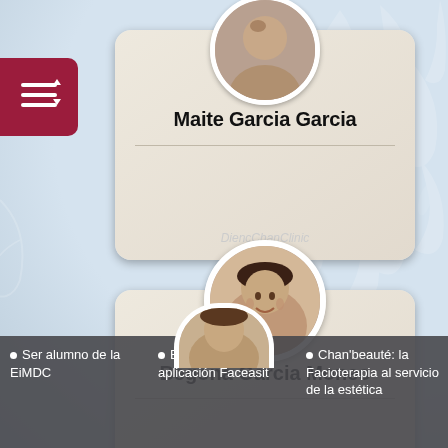[Figure (photo): Profile card for Maite Garcia Garcia with circular portrait photo at top, name in bold, divider line, and watermark text 'DiencChanClinic']
Maite Garcia Garcia
[Figure (photo): Profile card for Begoña Garcia Moneo with circular portrait photo, smiling woman with dark hair, name in bold, divider line, and watermark text 'DiencChanClinic']
Begoña Garcia Moneo
[Figure (logo): Dark red/maroon menu button with three horizontal lines icon and sort arrows in top-left]
Ser alumno de la EiMDC
Estudiar con la aplicación Faceasit
Chan'beauté: la Facioterapia al servicio de la estética